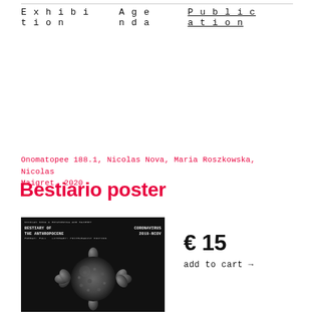Exhibition   Agenda   Publication
Onomatopee 188.1, Nicolas Nova, Maria Roszkowska, Nicolas Maigret, 2020
Bestiario poster
[Figure (photo): Black poster with text header reading 'BESTIARY OF THE ANTHROPOCENE / CORONAVIRUS 2019-NCOV' and a photographic image of a coronavirus particle on a black background]
€ 15
add to cart →